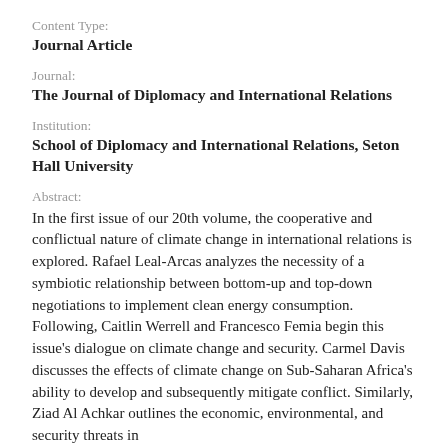Content Type:
Journal Article
Journal:
The Journal of Diplomacy and International Relations
Institution:
School of Diplomacy and International Relations, Seton Hall University
Abstract:
In the first issue of our 20th volume, the cooperative and conflictual nature of climate change in international relations is explored. Rafael Leal-Arcas analyzes the necessity of a symbiotic relationship between bottom-up and top-down negotiations to implement clean energy consumption. Following, Caitlin Werrell and Francesco Femia begin this issue's dialogue on climate change and security. Carmel Davis discusses the effects of climate change on Sub-Saharan Africa's ability to develop and subsequently mitigate conflict. Similarly, Ziad Al Achkar outlines the economic, environmental, and security threats in